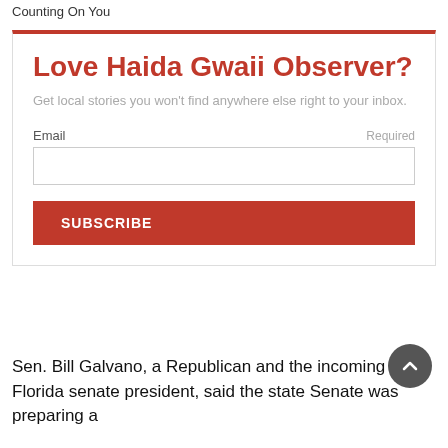Counting On You
Love Haida Gwaii Observer?
Get local stories you won't find anywhere else right to your inbox.
Email  Required
SUBSCRIBE
Sen. Bill Galvano, a Republican and the incoming Florida senate president, said the state Senate was preparing a